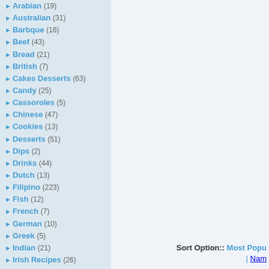Arabian (19)
Australian (31)
Barbque (16)
Beef (43)
Bread (21)
British (7)
Cakes Desserts (63)
Candy (25)
Cassoroles (5)
Chinese (47)
Cookies (13)
Desserts (51)
Dips (2)
Drinks (44)
Dutch (13)
Filipino (223)
Fish (12)
French (7)
German (10)
Greek (5)
Indian (21)
Irish Recipes (26)
Italian (9)
Jambalaya (6)
Japanese (11)
Jewish (32)
Korean (13)
Lamb (4)
Sort Option:: Most Popu... | Nam...